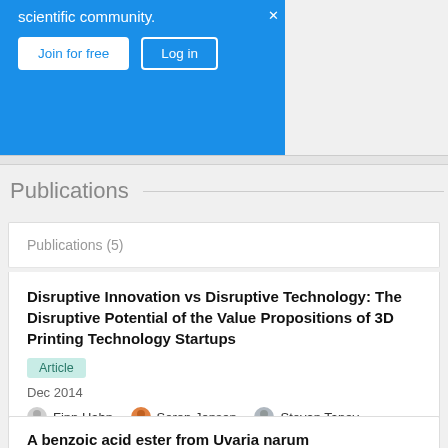scientific community.
Join for free | Log in
Publications
Publications (5)
Disruptive Innovation vs Disruptive Technology: The Disruptive Potential of the Value Propositions of 3D Printing Technology Startups
Article
Dec 2014
Finn Hahn · Soren Jensen · Stoyan Tanev
View
A benzoic acid ester from Uvaria narum